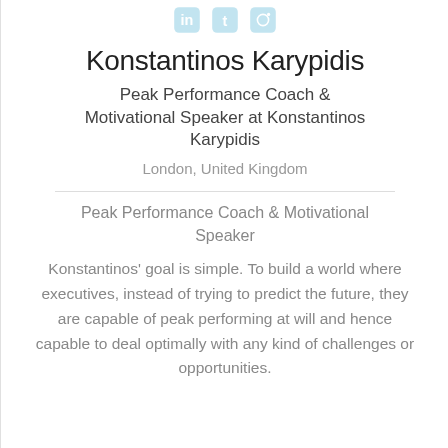[Figure (illustration): Three social media icons (LinkedIn, Twitter, Instagram) in light blue at the top of the page]
Konstantinos Karypidis
Peak Performance Coach & Motivational Speaker at Konstantinos Karypidis
London, United Kingdom
Peak Performance Coach & Motivational Speaker
Konstantinos' goal is simple. To build a world where executives, instead of trying to predict the future, they are capable of peak performing at will and hence capable to deal optimally with any kind of challenges or opportunities.